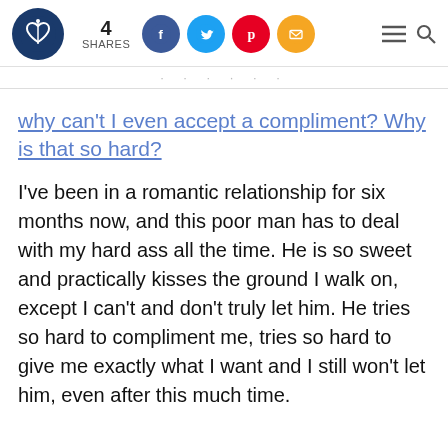4 SHARES [social icons: Facebook, Twitter, Pinterest, Email] [menu] [search]
why can't I even accept a compliment? Why is that so hard?
I've been in a romantic relationship for six months now, and this poor man has to deal with my hard ass all the time. He is so sweet and practically kisses the ground I walk on, except I can't and don't truly let him. He tries so hard to compliment me, tries so hard to give me exactly what I want and I still won't let him, even after this much time.